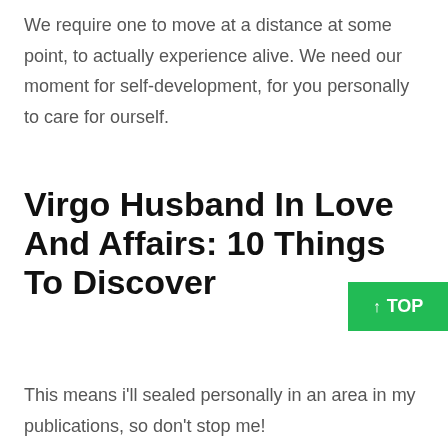We require one to move at a distance at some point, to actually experience alive. We need our moment for self-development, for you personally to care for ourself.
Virgo Husband In Love And Affairs: 10 Things To Discover
This means i'll sealed personally in an area in my publications, so don't stop me!